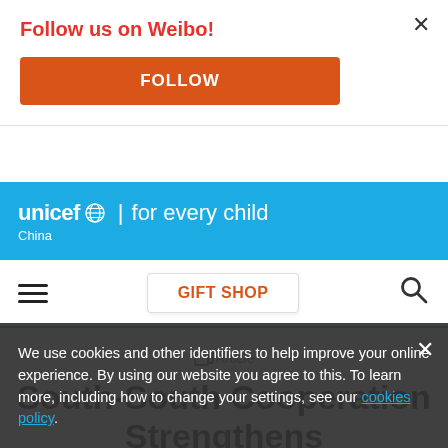Follow us on Weibo!
FOLLOW
[Figure (logo): UNICEF 'for every child' logo with globe icon on cyan/blue background, with 'China' subtitle]
GIFT SHOP
Article
South-South Cooperation Strengthens Humanitarian
We use cookies and other identifiers to help improve your online experience. By using our website you agree to this. To learn more, including how to change your settings, see our cookies policy.